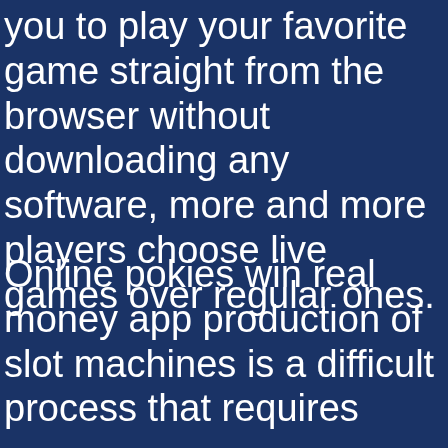you to play your favorite game straight from the browser without downloading any software, more and more players choose live games over regular ones.
Online pokies win real money app production of slot machines is a difficult process that requires